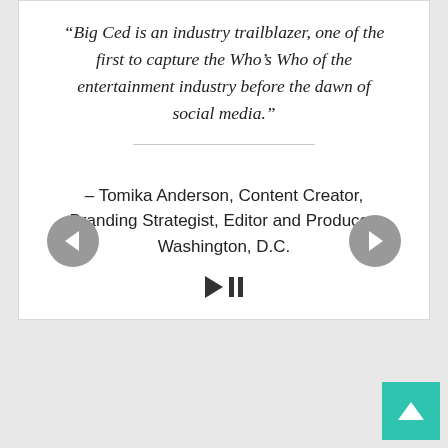“Big Ced is an industry trailblazer, one of the first to capture the Who’s Who of the entertainment industry before the dawn of social media.”
– Tomika Anderson, Content Creator, Branding Strategist, Editor and Producer, Washington, D.C.